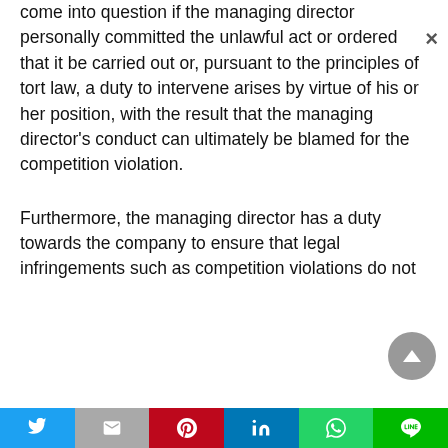come into question if the managing director personally committed the unlawful act or ordered that it be carried out or, pursuant to the principles of tort law, a duty to intervene arises by virtue of his or her position, with the result that the managing director's conduct can ultimately be blamed for the competition violation.
Furthermore, the managing director has a duty towards the company to ensure that legal infringements such as competition violations do not
Twitter | Gmail | Pinterest | LinkedIn | WhatsApp | Line